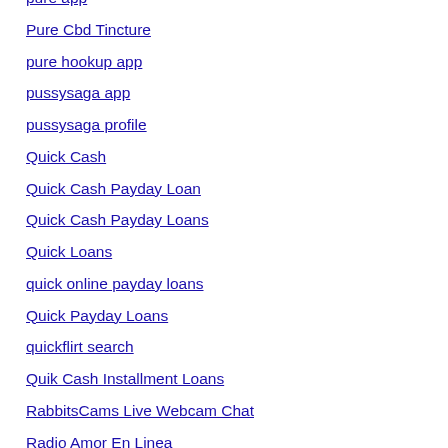pure app
Pure Cbd Tincture
pure hookup app
pussysaga app
pussysaga profile
Quick Cash
Quick Cash Payday Loan
Quick Cash Payday Loans
Quick Loans
quick online payday loans
Quick Payday Loans
quickflirt search
Quik Cash Installment Loans
RabbitsCams Live Webcam Chat
Radio Amor En Linea
Real Asian Teen
Real Busty Women
real dating sites
real free dating sites